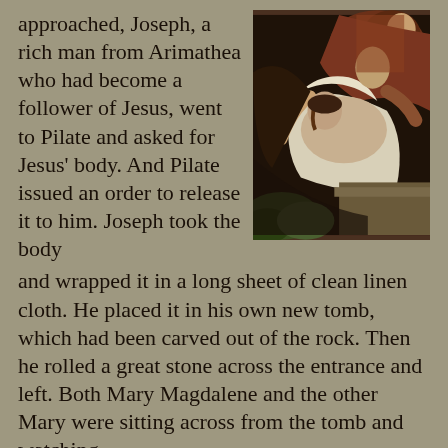approached, Joseph, a rich man from Arimathea who had become a follower of Jesus, went to Pilate and asked for Jesus' body. And Pilate issued an order to release it to him. Joseph took the body and wrapped it in a long sheet of clean linen cloth. He placed it in his own new tomb, which had been carved out of the rock. Then he rolled a great stone across the entrance and left. Both Mary Magdalene and the other Mary were sitting across from the tomb and watching.
[Figure (photo): A classical painting depicting figures lowering or carrying the body of Jesus Christ, in dark rich tones of red, brown and white.]
The Guard at the Tomb
The next day was the Sabbath, the leading priests